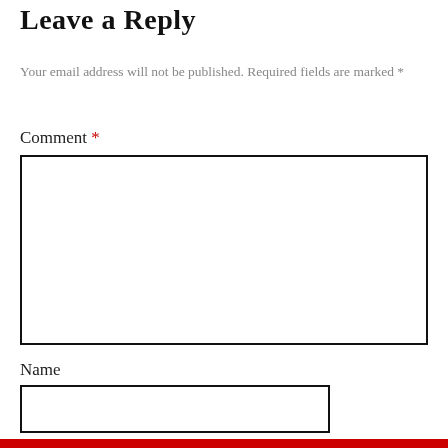Leave a Reply
Your email address will not be published. Required fields are marked *
Comment *
[Figure (other): Comment text area input box, large rectangle with black border]
Name
[Figure (other): Name text input box, smaller rectangle with black border]
[Figure (other): Red horizontal bar at bottom of page]